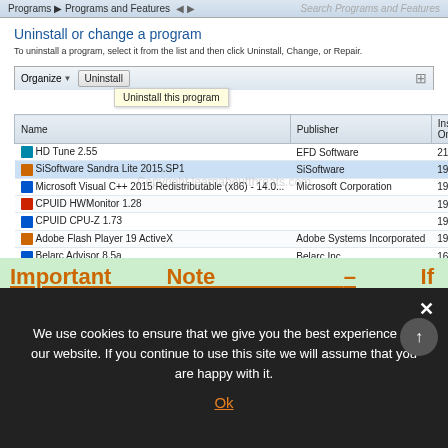[Figure (screenshot): Windows Control Panel Programs and Features window showing a list of installed programs including HD Tune 2.55, SiSoftware Sandra Lite 2015.SP1, Microsoft Visual C++ 2015 Redistributable, CPUID HWMonitor 1.28, CPUID CPU-Z 1.73, Adobe Flash Player 19 ActiveX, Belarc Advisor 8.5a, Microsoft Silverlight, Microsoft .NET Framework 4.5.2 with publisher names and install dates]
Important Note – If Trojan.Multi.GenAutorunTask.b or related program cannot be uninstalled from Control Panel, you may need to
We use cookies to ensure that we give you the best experience on our website. If you continue to use this site we will assume that you are happy with it.
Ok